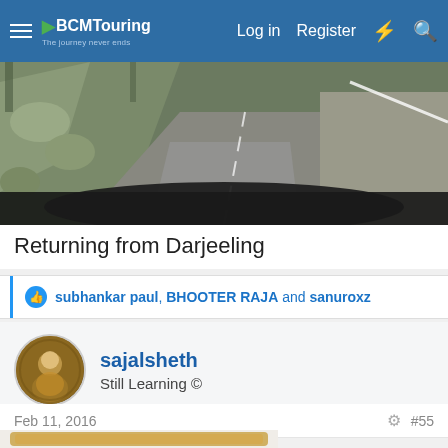BCMTouring — Log in  Register
[Figure (photo): Road view from a vehicle dashcam/windshield, showing a winding mountain road, trees and rocky terrain on the left, guardrail on the right. Image from a journey returning from Darjeeling.]
Returning from Darjeeling
subhankar paul, BHOOTER RAJA and sanuroxz
sajalsheth
Still Learning ©
Feb 11, 2016   #55
[Figure (photo): A biscuit with the word NICE embossed on it, tan/golden brown color, rectangular with scalloped edges, on a white background.]